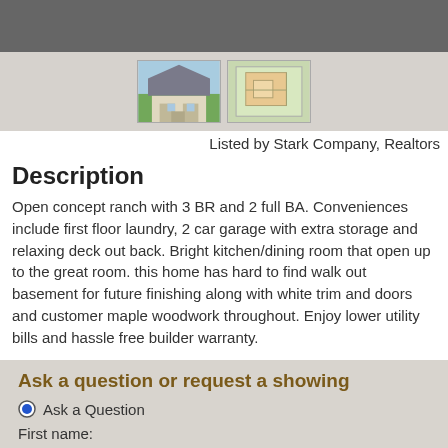[Figure (photo): Thumbnail images of a house exterior and a floor plan/map]
Listed by Stark Company, Realtors
Description
Open concept ranch with 3 BR and 2 full BA. Conveniences include first floor laundry, 2 car garage with extra storage and relaxing deck out back. Bright kitchen/dining room that open up to the great room. this home has hard to find walk out basement for future finishing along with white trim and doors and customer maple woodwork throughout. Enjoy lower utility bills and hassle free builder warranty.
Ask a question or request a showing
Ask a Question
First name: